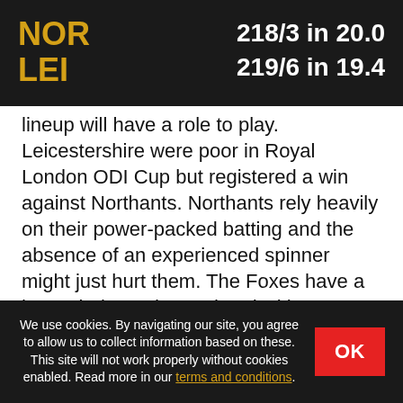NOR 218/3 in 20.0 LEI 219/6 in 19.4
lineup will have a role to play. Leicestershire were poor in Royal London ODI Cup but registered a win against Northants. Northants rely heavily on their power-packed batting and the absence of an experienced spinner might just hurt them. The Foxes have a better-balanced squad and with Ackermann and Delport in fine form, we expect them to beat Northamptonshire yet again.
Written by Prashant Dhamija on 03 July 2018
We use cookies. By navigating our site, you agree to allow us to collect information based on these. This site will not work properly without cookies enabled. Read more in our terms and conditions.